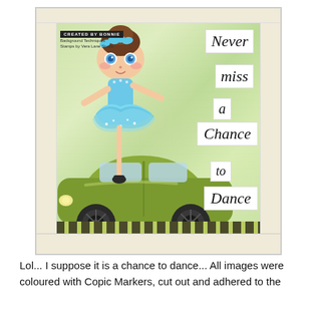[Figure (illustration): Handcrafted greeting card showing a cartoon ballerina girl in a blue tutu standing on top of a green car. The background is made from newspaper pages with green/yellow watercolor paint. White labels with italic text spell out 'Never miss a Chance to Dance'. A small black badge reads 'CREATED BY BONNIE' with 'Vera Lane Studio' text below.]
Lol... I suppose it is a chance to dance... All images were coloured with Copic Markers, cut out and adhered to the